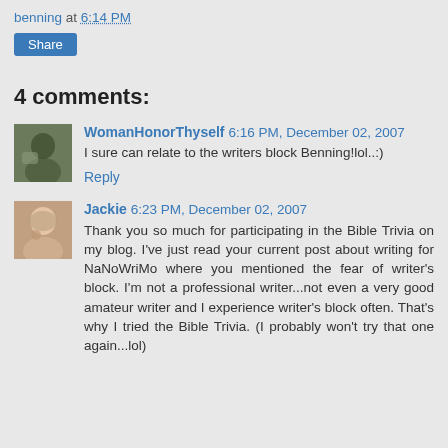benning at 6:14 PM
Share
4 comments:
WomanHonorThyself 6:16 PM, December 02, 2007
I sure can relate to the writers block Benning!lol..:)
Reply
Jackie 6:23 PM, December 02, 2007
Thank you so much for participating in the Bible Trivia on my blog. I've just read your current post about writing for NaNoWriMo where you mentioned the fear of writer's block. I'm not a professional writer...not even a very good amateur writer and I experience writer's block often. That's why I tried the Bible Trivia. (I probably won't try that one again...lol)